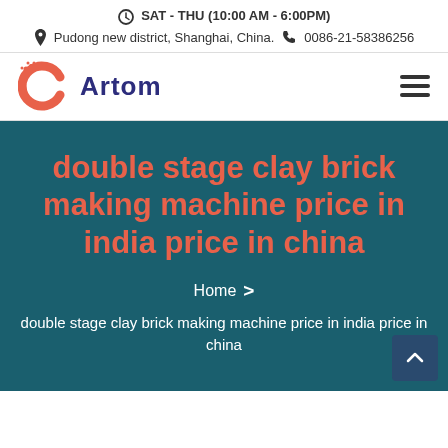SAT - THU (10:00 AM - 6:00PM)
Pudong new district, Shanghai, China.  0086-21-58386256
[Figure (logo): Artom company logo with orange C icon and dark blue Artom text]
double stage clay brick making machine price in india price in china
Home > double stage clay brick making machine price in india price in china